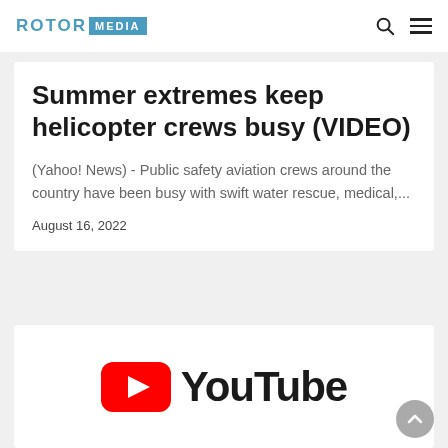ROTOR MEDIA
Summer extremes keep helicopter crews busy (VIDEO)
(Yahoo! News) - Public safety aviation crews around the country have been busy with swift water rescue, medical,...
August 16, 2022
[Figure (logo): YouTube logo with red play button icon and 'YouTube' wordmark in black]